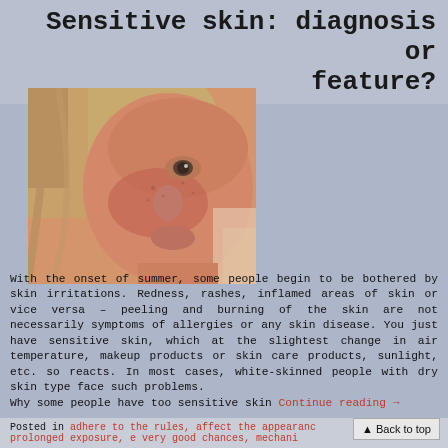Sensitive skin: diagnosis or feature?
[Figure (photo): Close-up photo of a young woman's face showing reddened, sensitive-looking skin with freckles and blonde hair]
With the onset of summer, some people begin to be bothered by skin irritations. Redness, rashes, inflamed areas of skin or vice versa – peeling and burning of the skin are not necessarily symptoms of allergies or any skin disease. You just have sensitive skin, which at the slightest change in air temperature, makeup products or skin care products, sunlight, etc. so reacts. In most cases, white-skinned people with dry skin type face such problems. Why some people have too sensitive skin Continue reading →
Posted in adhere to the rules, affect the appearance, prolonged exposure, e very good chances, mechani